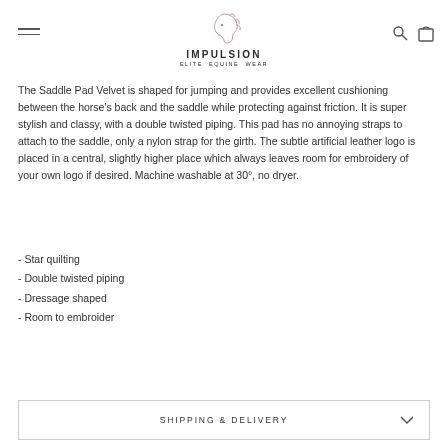[Figure (logo): Impulsion Elite Equine Wear logo with horse head illustration above brand name]
The Saddle Pad Velvet is shaped for jumping and provides excellent cushioning between the horse's back and the saddle while protecting against friction. It is super stylish and classy, with a double twisted piping. This pad has no annoying straps to attach to the saddle, only a nylon strap for the girth. The subtle artificial leather logo is placed in a central, slightly higher place which always leaves room for embroidery of your own logo if desired. Machine washable at 30°, no dryer.
- Star quilting
- Double twisted piping
- Dressage shaped
- Room to embroider
SHIPPING & DELIVERY